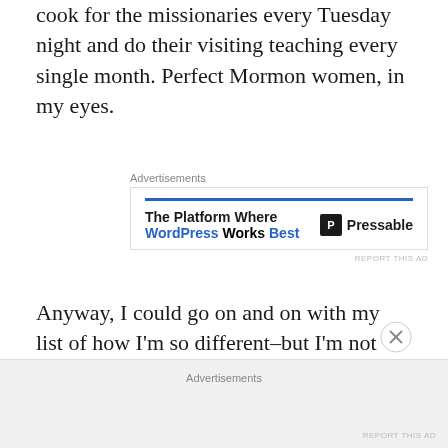cook for the missionaries every Tuesday night and do their visiting teaching every single month. Perfect Mormon women, in my eyes.
[Figure (other): Advertisement banner for Pressable: 'The Platform Where WordPress Works Best' with blue bar and Pressable logo]
Anyway, I could go on and on with my list of how I'm so different–but I'm not going to turn this into a trilogy of me. But if you're a misfit I'm sure you have your own lengthy list and together we could make a seven-book series.
But lately it's been heavy on my mind–this whole black
[Figure (other): Bottom advertisement bar with 'Advertisements' label]